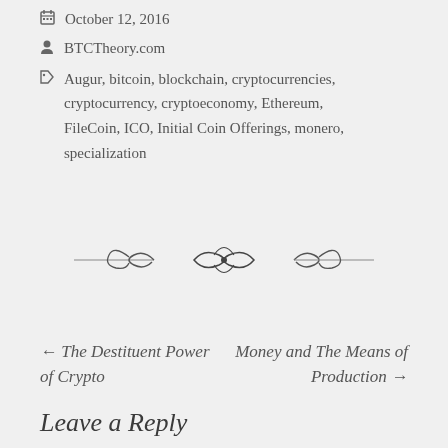October 12, 2016
BTCTheory.com
Augur, bitcoin, blockchain, cryptocurrencies, cryptocurrency, cryptoeconomy, Ethereum, FileCoin, ICO, Initial Coin Offerings, monero, specialization
[Figure (illustration): Decorative ornamental divider with scrollwork and bow design]
← The Destituent Power of Crypto
Money and The Means of Production →
Leave a Reply